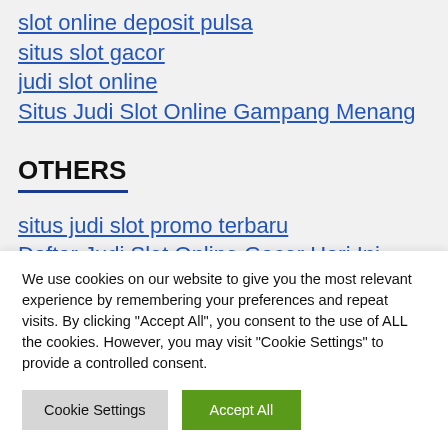slot online deposit pulsa
situs slot gacor
judi slot online
Situs Judi Slot Online Gampang Menang
OTHERS
situs judi slot promo terbaru
Daftar Judi Slot Online Gacor Hari Ini
Situs Slot G…
We use cookies on our website to give you the most relevant experience by remembering your preferences and repeat visits. By clicking "Accept All", you consent to the use of ALL the cookies. However, you may visit "Cookie Settings" to provide a controlled consent.
Cookie Settings  Accept All